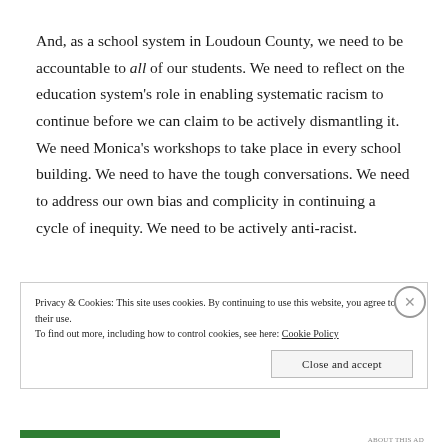And, as a school system in Loudoun County, we need to be accountable to all of our students. We need to reflect on the education system's role in enabling systematic racism to continue before we can claim to be actively dismantling it. We need Monica's workshops to take place in every school building. We need to have the tough conversations. We need to address our own bias and complicity in continuing a cycle of inequity. We need to be actively anti-racist.
Privacy & Cookies: This site uses cookies. By continuing to use this website, you agree to their use.
To find out more, including how to control cookies, see here: Cookie Policy